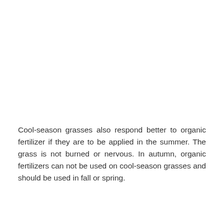Cool-season grasses also respond better to organic fertilizer if they are to be applied in the summer. The grass is not burned or nervous. In autumn, organic fertilizers can not be used on cool-season grasses and should be used in fall or spring.